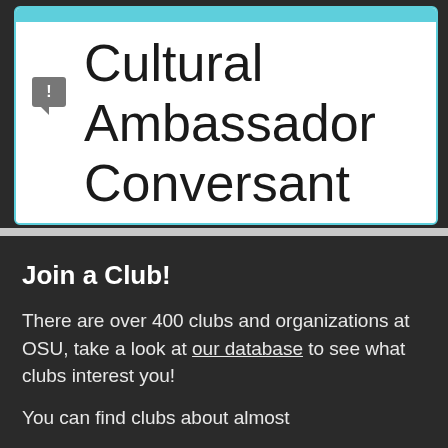[Figure (screenshot): A card/dialog UI element with a teal top bar on a dark background, showing large text 'Cultural Ambassador Conversant' and a small gray alert/message icon with an exclamation mark on the left side.]
Join a Club!
There are over 400 clubs and organizations at OSU, take a look at our database to see what clubs interest you!
You can find clubs about almost